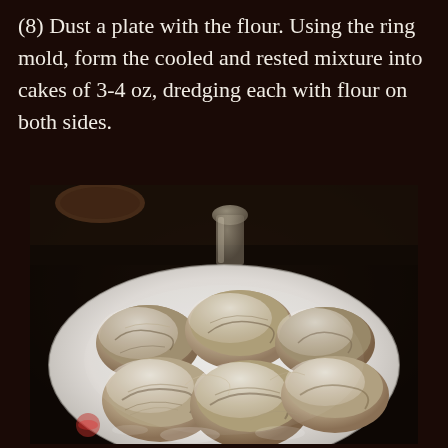(8) Dust a plate with the flour. Using the ring mold, form the cooled and rested mixture into cakes of 3-4 oz, dredging each with flour on both sides.
[Figure (photo): A white oval plate holding several flour-dusted savory cakes or crab cakes, heavily coated in white flour on both sides. The background shows a dark countertop surface with a small glass vessel visible in the back.]